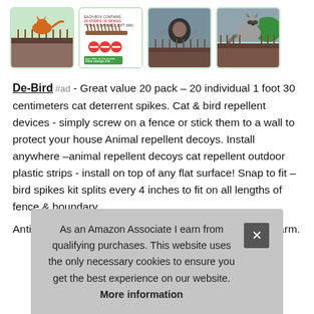[Figure (photo): Row of four product thumbnail images showing cat deterrent spikes product - cat on fence spikes, product packaging/diagram, person with spikes on fence, raccoon on spikes]
De-Bird #ad - Great value 20 pack – 20 individual 1 foot 30 centimeters cat deterrent spikes. Cat & bird repellent devices - simply screw on a fence or stick them to a wall to protect your house Animal repellent decoys. Install anywhere –animal repellent decoys cat repellent outdoor plastic strips - install on top of any flat surface! Snap to fit – bird spikes kit splits every 4 inches to fit on all lengths of fence & boundary.
Anti spikes to guard against intruders without causing harm.
As an Amazon Associate I earn from qualifying purchases. This website uses the only necessary cookies to ensure you get the best experience on our website. More information